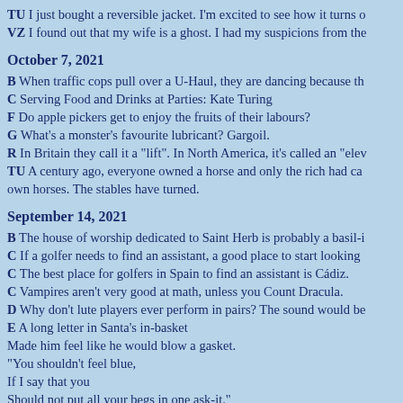TU I just bought a reversible jacket. I'm excited to see how it turns out.
VZ I found out that my wife is a ghost. I had my suspicions from the start.
October 7, 2021
B When traffic cops pull over a U-Haul, they are dancing because they move it move it.
C Serving Food and Drinks at Parties: Kate Turing
F Do apple pickers get to enjoy the fruits of their labours?
G What's a monster's favourite lubricant? Gargoil.
R In Britain they call it a "lift". In North America, it's called an "elevator".
TU A century ago, everyone owned a horse and only the rich had cars. Now everyone has cars and only the rich own horses. The stables have turned.
September 14, 2021
B The house of worship dedicated to Saint Herb is probably a basil-ica.
C If a golfer needs to find an assistant, a good place to start looking is a caddie.
C The best place for golfers in Spain to find an assistant is Cádiz.
C Vampires aren't very good at math, unless you Count Dracula.
D Why don't lute players ever perform in pairs? The sound would be too ludicrous.
E A long letter in Santa's in-basket
Made him feel like he would blow a gasket.
"You shouldn't feel blue,
If I say that you
Should not put all your begs in one ask-it."
E Why did the archaeopteryx catch the worm? Because it was an early bird.
G We applaud puppets by giving them a hand.